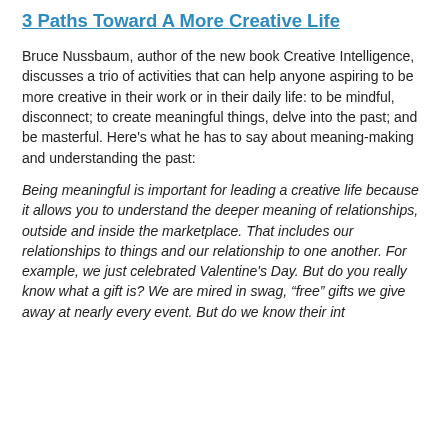3 Paths Toward A More Creative Life
Bruce Nussbaum, author of the new book Creative Intelligence, discusses a trio of activities that can help anyone aspiring to be more creative in their work or in their daily life: to be mindful, disconnect; to create meaningful things, delve into the past; and be masterful. Here's what he has to say about meaning-making and understanding the past:
Being meaningful is important for leading a creative life because it allows you to understand the deeper meaning of relationships, outside and inside the marketplace. That includes our relationships to things and our relationship to one another. For example, we just celebrated Valentine's Day. But do you really know what a gift is? We are mired in swag, “free” gifts we give away at nearly every event. But do we know their internal giving and taking…